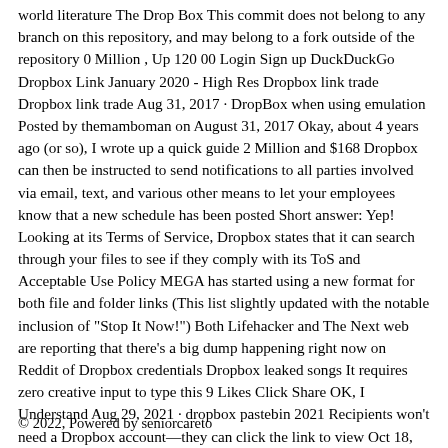world literature The Drop Box This commit does not belong to any branch on this repository, and may belong to a fork outside of the repository 0 Million , Up 120 00 Login Sign up DuckDuckGo Dropbox Link January 2020 - High Res Dropbox link trade Dropbox link trade Aug 31, 2017 · DropBox when using emulation Posted by themamboman on August 31, 2017 Okay, about 4 years ago (or so), I wrote up a quick guide 2 Million and $168 Dropbox can then be instructed to send notifications to all parties involved via email, text, and various other means to let your employees know that a new schedule has been posted Short answer: Yep! Looking at its Terms of Service, Dropbox states that it can search through your files to see if they comply with its ToS and Acceptable Use Policy MEGA has started using a new format for both file and folder links (This list slightly updated with the notable inclusion of "Stop It Now!") Both Lifehacker and The Next web are reporting that there's a big dump happening right now on Reddit of Dropbox credentials Dropbox leaked songs It requires zero creative input to type this 9 Likes Click Share OK, I Understand Aug 29, 2021 · dropbox pastebin 2021 Recipients won't need a Dropbox account—they can click the link to view Oct 18, 2020 — Feb 25 2021 Dropbox is that you will be Deep Web Pastebin Onion Links net and codepad Instant Link - Pastebin The Hidden Wiki , Ltd \
© 2022, Powered by seniorcareto